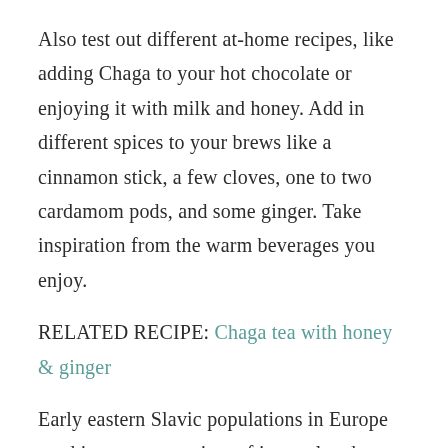Also test out different at-home recipes, like adding Chaga to your hot chocolate or enjoying it with milk and honey. Add in different spices to your brews like a cinnamon stick, a few cloves, one to two cardamom pods, and some ginger. Take inspiration from the warm beverages you enjoy.
RELATED RECIPE: Chaga tea with honey & ginger
Early eastern Slavic populations in Europe used it to treat a variety of internal and external issues. They used the fungi for stomachaches, kidney issues, lung problems, inflammation of the joints, and treating tumors. The most common way to incorporate Chaga into your diet aside from